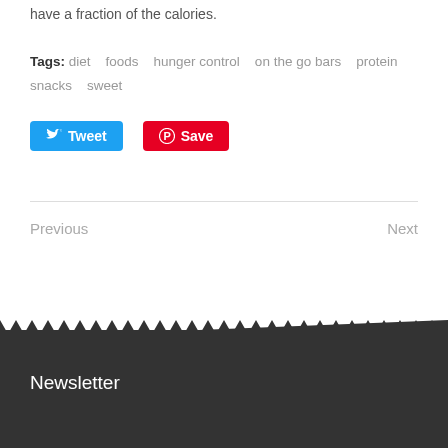have a fraction of the calories.
Tags: diet   foods   hunger control   on the go bars   protein snacks   sweet
[Figure (other): Tweet button (blue) and Save button (red Pinterest)]
Previous
Next
Newsletter